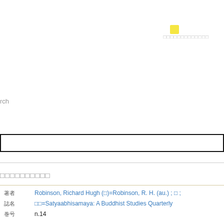[Figure (other): Small yellow icon/square in top right area]
□□□□□□□□□□□□□
rch
[Figure (other): Search input box with black border]
□□□□□□□□□□
著者  Robinson, Richard Hugh (□)=Robinson, R. H. (au.) ; □ ;
誌名  □□=Satyaabhisamaya: A Buddhist Studies Quarterly
巻号  n.14